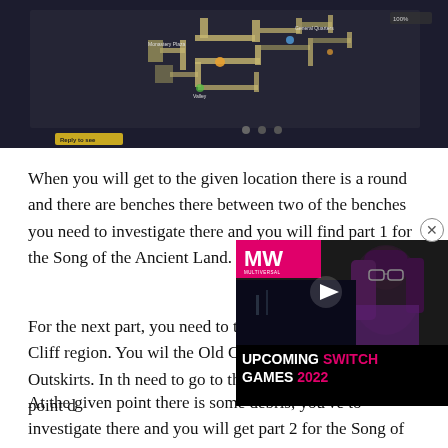[Figure (screenshot): Game map screenshot showing a top-down dungeon/level map with paths and labeled locations including 'Monastery Plaza' and 'General Quarters', dark background. A yellow 'Reply to see' button visible at bottom left.]
When you will get to the given location there is a round and there are benches there between two of the benches you need to investigate there and you will find part 1 for the Song of the Ancient Land.
For the next part, you need to the Shady Cliff region. You will the Old Castle Outskirts. In the need to go to the given point d
[Figure (screenshot): Advertisement overlay showing a woman with glasses and purple hair on dark background, with MW (Multiversal) logo in pink/magenta banner top-left, a play button triangle in center, and text 'UPCOMING SWITCH GAMES 2022' in white and pink on black at bottom.]
At the given point there is some debris, you've to investigate there and you will get part 2 for the Song of the Ancient Land.